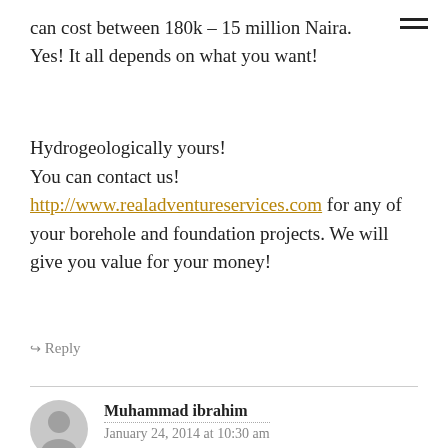can cost between 180k – 15 million Naira. Yes! It all depends on what you want!
Hydrogeologically yours!
You can contact us!
http://www.realadventureservices.com for any of your borehole and foundation projects. We will give you value for your money!
↪ Reply
Muhammad ibrahim
January 24, 2014 at 10:30 am
Infact my first time to come across such articles. Thanks a lot. Keep on updating me through my mail.